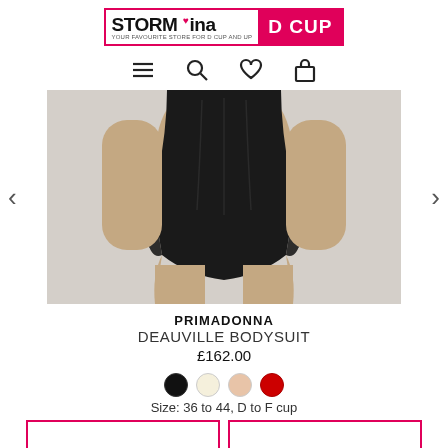[Figure (logo): Storm in a D Cup logo — black text 'STORM ina' with pink heart, pink background block with white text 'D CUP', tagline 'YOUR FAVOURITE STORE FOR D CUP AND UP']
[Figure (photo): Woman wearing a black lace bodysuit (Primadonna Deauville Bodysuit), torso and legs visible, cropped at top and bottom, neutral gray background]
PRIMADONNA
DEAUVILLE BODYSUIT
£162.00
Size: 36 to 44, D to F cup